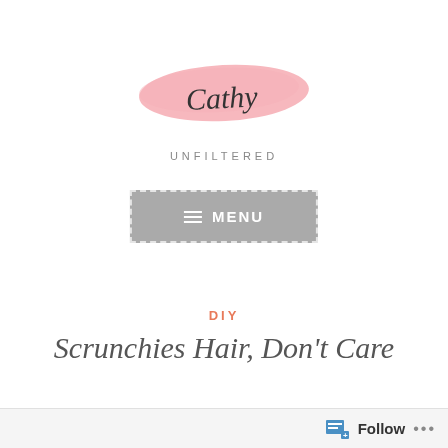[Figure (logo): Cathy Unfiltered blog logo — cursive pink brushstroke with 'Cathy' in script and 'UNFILTERED' in spaced sans-serif capitals below]
[Figure (screenshot): Gray menu button with dashed white border, hamburger icon and 'MENU' text in white on gray background]
DIY
Scrunchies Hair, Don't Care
May 8, 2019 · Cathy Unfiltered
Follow ...